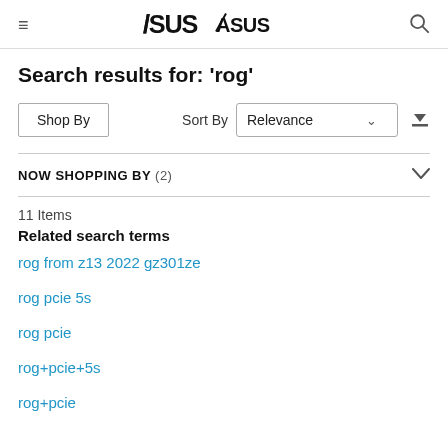≡ ASUS 🔍
Search results for: 'rog'
Shop By | Sort By Relevance
NOW SHOPPING BY (2)
11 Items
Related search terms
rog from z13 2022 gz301ze
rog pcie 5s
rog pcie
rog+pcie+5s
rog+pcie